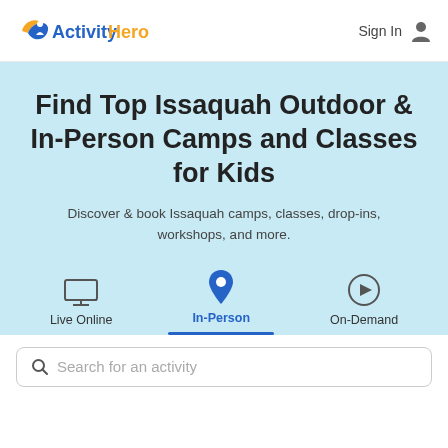ActivityHero | Sign In
Find Top Issaquah Outdoor & In-Person Camps and Classes for Kids
Discover & book Issaquah camps, classes, drop-ins, workshops, and more.
Live Online | In-Person | On-Demand
Search for an activity